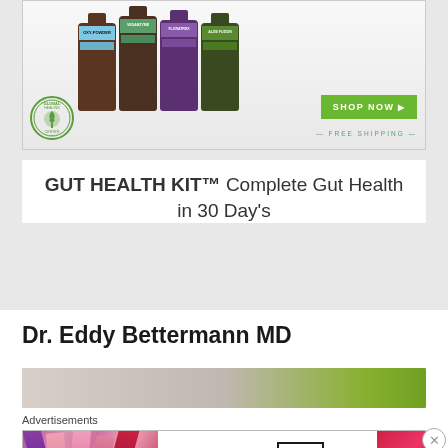[Figure (photo): Global Healing Center advertisement showing four supplement bottles (OXY-POWDER, VEGANZYME, FLORATREX, ALOE FUZION) with a green SHOP NOW button and FREE SHIPPING text, and Global Healing Center circular logo]
GUT HEALTH KIT™ Complete Gut Health in 30 Day's
Dr. Eddy Bettermann MD
[Figure (photo): Partial article image strip with green element on right side]
Advertisements
[Figure (photo): MAC cosmetics advertisement showing colorful lipsticks on left, MAC wordmark in center, SHOP NOW box, and red lipstick on right]